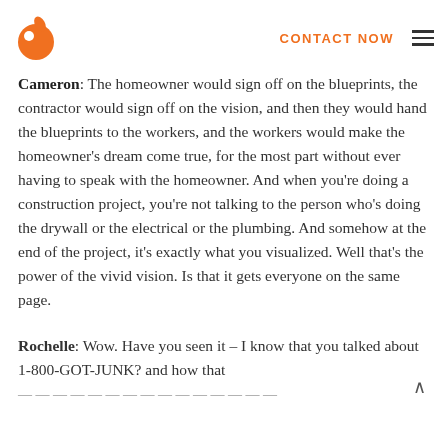CONTACT NOW
Cameron: The homeowner would sign off on the blueprints, the contractor would sign off on the vision, and then they would hand the blueprints to the workers, and the workers would make the homeowner's dream come true, for the most part without ever having to speak with the homeowner. And when you're doing a construction project, you're not talking to the person who's doing the drywall or the electrical or the plumbing. And somehow at the end of the project, it's exactly what you visualized. Well that's the power of the vivid vision. Is that it gets everyone on the same page.
Rochelle: Wow. Have you seen it – I know that you talked about 1-800-GOT-JUNK? and how that